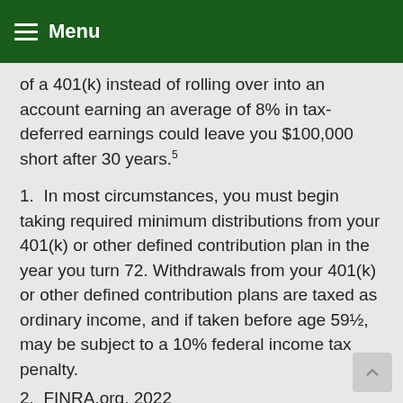Menu
of a 401(k) instead of rolling over into an account earning an average of 8% in tax-deferred earnings could leave you $100,000 short after 30 years.⁵
1. In most circumstances, you must begin taking required minimum distributions from your 401(k) or other defined contribution plan in the year you turn 72. Withdrawals from your 401(k) or other defined contribution plans are taxed as ordinary income, and if taken before age 59½, may be subject to a 10% federal income tax penalty.
2. FINRA.org, 2022
3. A 401(k) loan not paid is deemed a…